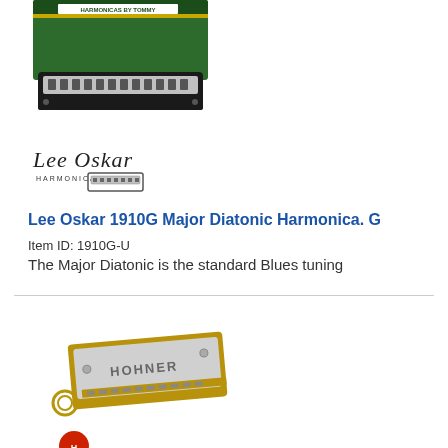[Figure (photo): Lee Oskar harmonica with green packaging/box visible in the background, product photo from a catalog]
[Figure (logo): Lee Oskar Harmonicas cursive logo with small harmonica illustration]
Lee Oskar 1910G Major Diatonic Harmonica. G
Item ID: 1910G-U
The Major Diatonic is the standard Blues tuning
[Figure (photo): Hohner mini harmonica keychain, brass colored body with chrome cover, shown at an angle]
[Figure (logo): Hohner red circular logo mark]